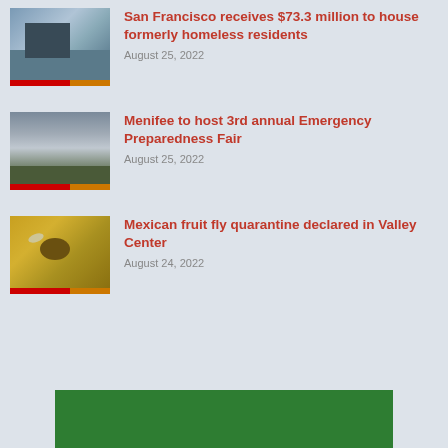[Figure (photo): City skyline with bridge, San Francisco]
San Francisco receives $73.3 million to house formerly homeless residents
August 25, 2022
[Figure (photo): Cloudy sky over flat landscape, Menifee]
Menifee to host 3rd annual Emergency Preparedness Fair
August 25, 2022
[Figure (photo): Close-up of Mexican fruit fly on plant]
Mexican fruit fly quarantine declared in Valley Center
August 24, 2022